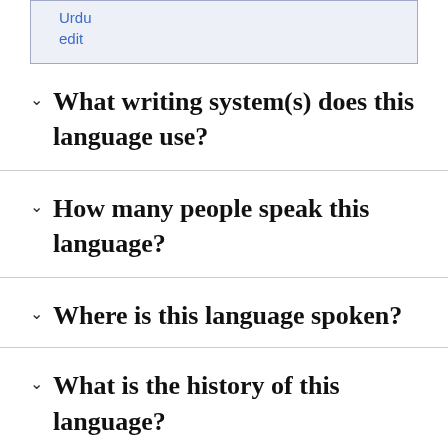Urdu
edit
What writing system(s) does this language use?
How many people speak this language?
Where is this language spoken?
What is the history of this language?